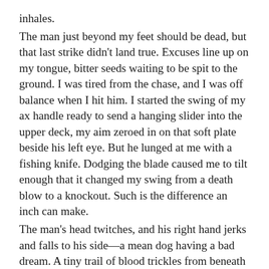inhales. The man just beyond my feet should be dead, but that last strike didn't land true. Excuses line up on my tongue, bitter seeds waiting to be spit to the ground. I was tired from the chase, and I was off balance when I hit him. I started the swing of my ax handle ready to send a hanging slider into the upper deck, my aim zeroed in on that soft plate beside his left eye. But he lunged at me with a fishing knife. Dodging the blade caused me to tilt enough that it changed my swing from a death blow to a knockout. Such is the difference an inch can make. The man's head twitches, and his right hand jerks and falls to his side—a mean dog having a bad dream. A tiny trail of blood trickles from beneath his stocking cap. It follows a path down the side of his head to where it has been dripping off his left ear, creating a red blossom in the snow. I watch his